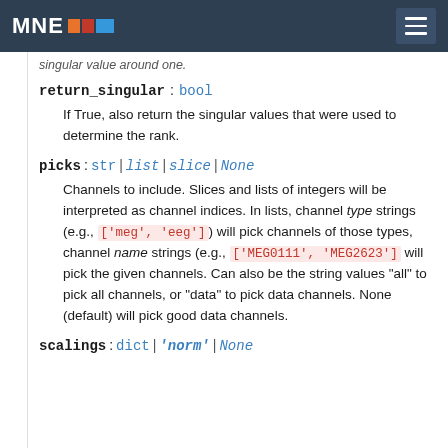MNE
singular value around one.
return_singular : bool — If True, also return the singular values that were used to determine the rank.
picks : str | list | slice | None — Channels to include. Slices and lists of integers will be interpreted as channel indices. In lists, channel type strings (e.g., ['meg', 'eeg']) will pick channels of those types, channel name strings (e.g., ['MEG0111', 'MEG2623']) will pick the given channels. Can also be the string values "all" to pick all channels, or "data" to pick data channels. None (default) will pick good data channels.
scalings : dict | 'norm' | None